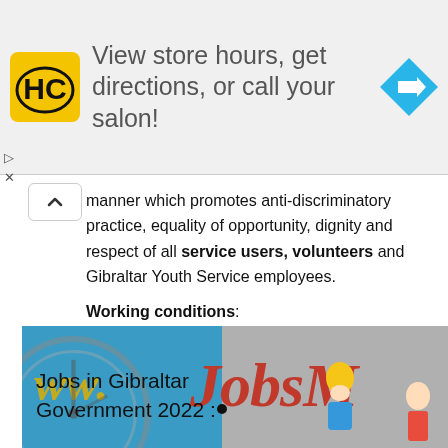[Figure (other): Advertisement banner for a salon locator service with HC logo and navigation arrow icon, text 'View store hours, get directions, or call your salon!']
manner which promotes anti-discriminatory practice, equality of opportunity, dignity and respect of all service users, volunteers and Gibraltar Youth Service employees.
Working conditions:
[Figure (photo): Banner image for Jobs in Gibraltar Government 2022 website, showing large red italic 'JobsM' text, yellow 'ww.' text, a circular clock/compass graphic on the left, and cartoon worker figures. Text overlay reads 'Jobs in Gibraltar Government 2022 :']